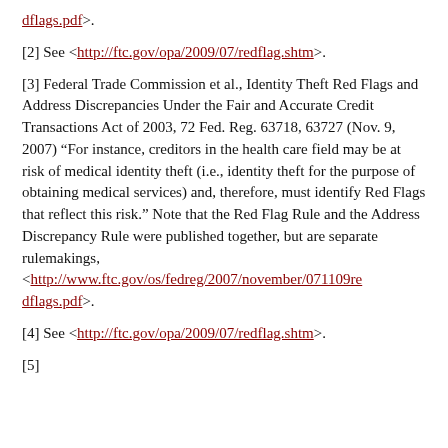dflags.pdf>.
[2] See <http://ftc.gov/opa/2009/07/redflag.shtm>.
[3] Federal Trade Commission et al., Identity Theft Red Flags and Address Discrepancies Under the Fair and Accurate Credit Transactions Act of 2003, 72 Fed. Reg. 63718, 63727 (Nov. 9, 2007) “For instance, creditors in the health care field may be at risk of medical identity theft (i.e., identity theft for the purpose of obtaining medical services) and, therefore, must identify Red Flags that reflect this risk.” Note that the Red Flag Rule and the Address Discrepancy Rule were published together, but are separate rulemakings, <http://www.ftc.gov/os/fedreg/2007/november/071109redflags.pdf>.
[4] See <http://ftc.gov/opa/2009/07/redflag.shtm>.
[5]